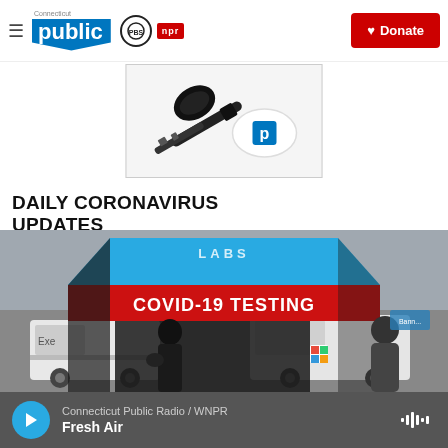Connecticut Public | PBS | NPR | Donate
[Figure (photo): Advertisement image showing a car key with a white keychain fob bearing a blue location pin logo]
DAILY CORONAVIRUS UPDATES
[Figure (photo): Photo of a COVID-19 testing site with a red and blue tent labeled 'COVID-19 TESTING'. People are standing near a white van underneath the tent.]
Connecticut Public Radio / WNPR | Fresh Air